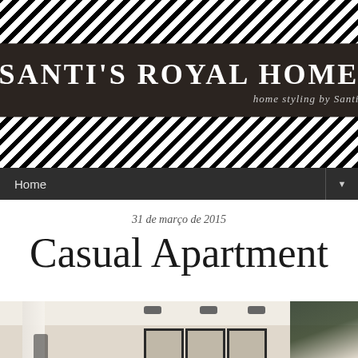[Figure (logo): Santi's Royal Home blog header with diagonal black and white stripes background and dark rectangular logo box containing 'SANTI'S ROYAL HOME' in white uppercase text and 'home styling by Santi' in italic subtitle]
Home
31 de março de 2015
Casual Apartment
[Figure (photo): Interior room photo showing a modern living space with recessed ceiling lights, white curtains on left, three framed pictures on a beige wall, and a large green plant on the right]